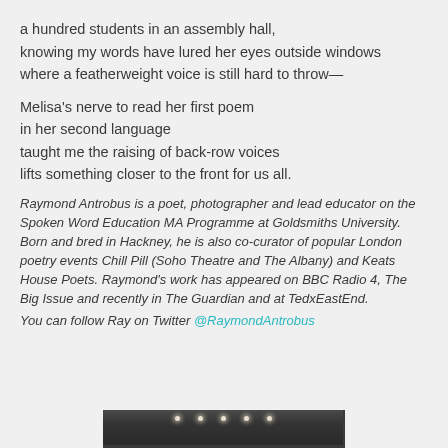a hundred students in an assembly hall,
knowing my words have lured her eyes outside windows
where a featherweight voice is still hard to throw—
Melisa's nerve to read her first poem
in her second language
taught me the raising of back-row voices
lifts something closer to the front for us all.
Raymond Antrobus is a poet, photographer and lead educator on the Spoken Word Education MA Programme at Goldsmiths University. Born and bred in Hackney, he is also co-curator of popular London poetry events Chill Pill (Soho Theatre and The Albany) and Keats House Poets. Raymond's work has appeared on BBC Radio 4, The Big Issue and recently in The Guardian and at TedxEastEnd.
You can follow Ray on Twitter @RaymondAntrobus
[Figure (photo): Interior photo of a venue with ceiling lights visible, partially cropped at bottom of page]